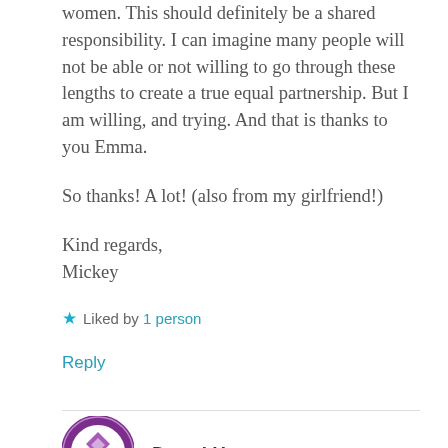women. This should definitely be a shared responsibility. I can imagine many people will not be able or not willing to go through these lengths to create a true equal partnership. But I am willing, and trying. And that is thanks to you Emma.

So thanks! A lot! (also from my girlfriend!)

Kind regards,
Mickey
★ Liked by 1 person
Reply
Darryl H